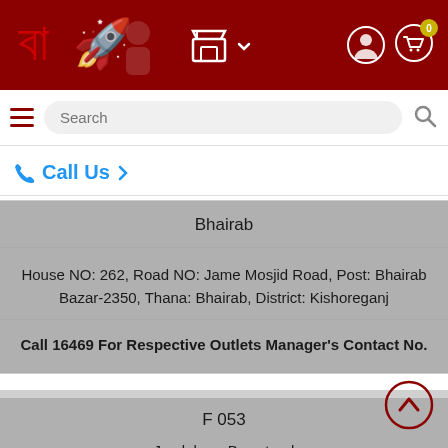[Figure (screenshot): App top navigation bar with logo, store icon, user icon, and cart icon with badge showing 0]
[Figure (screenshot): Search bar with hamburger menu, search input field and search button]
📞 Call Us >
Bhairab
House NO: 262, Road NO: Jame Mosjid Road, Post: Bhairab Bazar-2350, Thana: Bhairab, District: Kishoreganj
Call 16469 For Respective Outlets Manager's Contact No.
F 053
Joydebpur Bus stand
J.L NO: 45, S.A Khation NO: 398, R.S Khation NO: 201, C.S